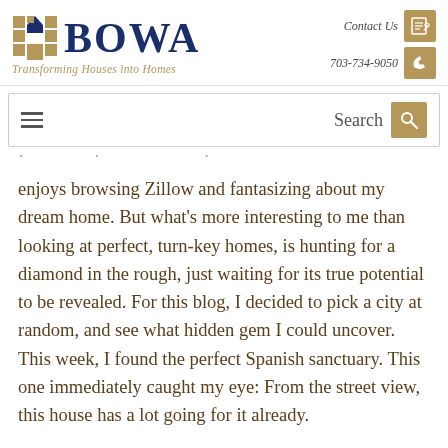[Figure (logo): BOWA logo with grid icon and tagline 'Transforming Houses into Homes']
Contact Us | 703-734-9050
Search bar with hamburger menu
enjoys browsing Zillow and fantasizing about my dream home. But what's more interesting to me than looking at perfect, turn-key homes, is hunting for a diamond in the rough, just waiting for its true potential to be revealed. For this blog, I decided to pick a city at random, and see what hidden gem I could uncover.  This week, I found the perfect Spanish sanctuary. This one immediately caught my eye: From the street view, this house has a lot going for it already.